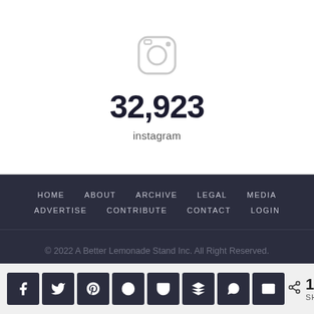[Figure (logo): Instagram camera icon outline in light gray]
32,923
instagram
HOME   ABOUT   ARCHIVE   LEGAL   MEDIA   ADVERTISE   CONTRIBUTE   CONTACT   LOGIN
© 2022 A Better Lemonade Stand Inc. All Right Reserved.
151 SHARES